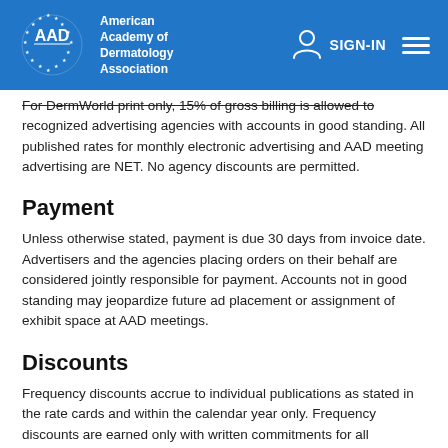American Academy of Dermatology Association — SIGN-IN
For DermWorld print only, 15% of gross billing is allowed to recognized advertising agencies with accounts in good standing. All published rates for monthly electronic advertising and AAD meeting advertising are NET. No agency discounts are permitted.
Payment
Unless otherwise stated, payment is due 30 days from invoice date. Advertisers and the agencies placing orders on their behalf are considered jointly responsible for payment. Accounts not in good standing may jeopardize future ad placement or assignment of exhibit space at AAD meetings.
Discounts
Frequency discounts accrue to individual publications as stated in the rate cards and within the calendar year only. Frequency discounts are earned only with written commitments for all applicable insertions. Advertisers not fulfilling space commitments to earn the frequency will be invoiced for the difference on all insertions at the end of the calendar year, or upon termination of